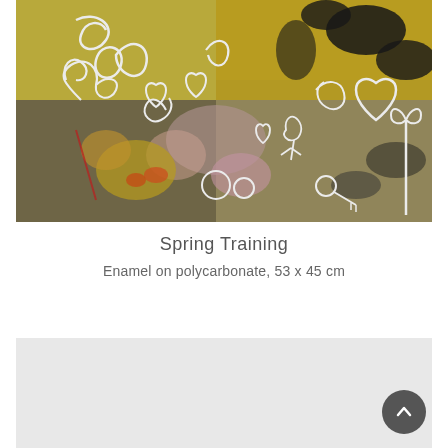[Figure (photo): Artwork photo of 'Spring Training' - enamel on polycarbonate. Abstract graffiti-style painting with yellow, black, grey and pink tones, featuring white outline drawings of figures, hearts, flowers, and creatures over a colorful layered background.]
Spring Training
Enamel on polycarbonate, 53 x 45 cm
[Figure (photo): Partial view of another artwork, light grey background, partially visible at bottom of page.]